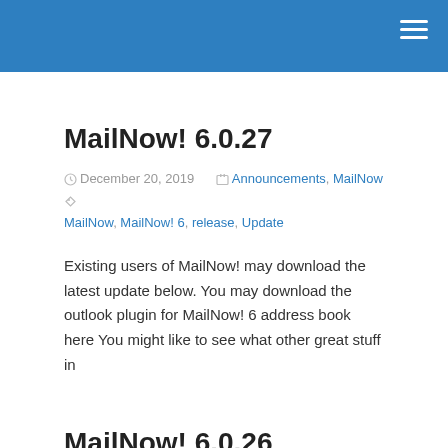MailNow! 6.0.27
December 20, 2019   Announcements, MailNow   MailNow, MailNow! 6, release, Update
Existing users of MailNow! may download the latest update below. You may download the outlook plugin for MailNow! 6 address book here You might like to see what other great stuff in
MailNow! 6.0.26
November 21, 2019   Announcements, MailNow   MailNow, MailNow! 6, release, Update